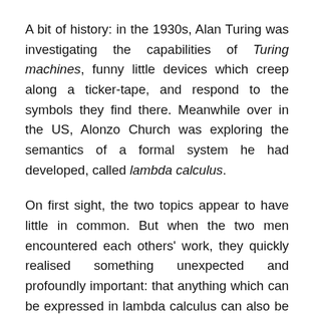A bit of history: in the 1930s, Alan Turing was investigating the capabilities of Turing machines, funny little devices which creep along a ticker-tape, and respond to the symbols they find there. Meanwhile over in the US, Alonzo Church was exploring the semantics of a formal system he had developed, called lambda calculus.
On first sight, the two topics appear to have little in common. But when the two men encountered each others' work, they quickly realised something unexpected and profoundly important: that anything which can be expressed in lambda calculus can also be computed by a Turing machine, and vice versa. Shortly afterwards, a third approach known as recursion was thrown into the mix. Again, it turned out that anything recursive is Turing-computable, and vice versa.